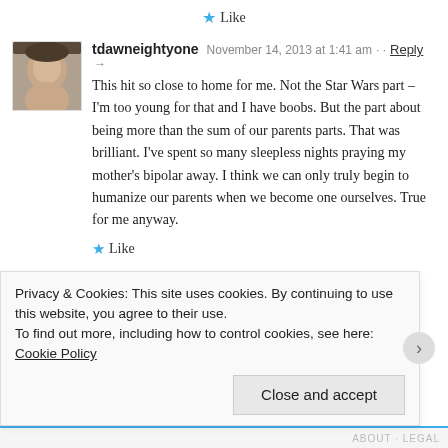★ Like
tdawneightyone  November 14, 2013 at 1:41 am · Reply →
This hit so close to home for me. Not the Star Wars part – I'm too young for that and I have boobs. But the part about being more than the sum of our parents parts. That was brilliant. I've spent so many sleepless nights praying my mother's bipolar away. I think we can only truly begin to humanize our parents when we become one ourselves. True for me anyway.
★ Like
Le Clown  November 14, 2013 at 10:43 am · Reply →
Privacy & Cookies: This site uses cookies. By continuing to use this website, you agree to their use.
To find out more, including how to control cookies, see here: Cookie Policy
Close and accept